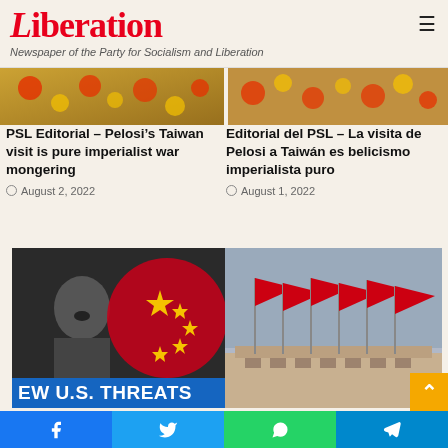Liberation — Newspaper of the Party for Socialism and Liberation
[Figure (photo): Top image strip — festive/cultural scene left and right panels]
PSL Editorial – Pelosi's Taiwan visit is pure imperialist war mongering
August 2, 2022
Editorial del PSL – La visita de Pelosi a Taiwán es belicismo imperialista puro
August 1, 2022
[Figure (photo): Black and white photo of a man speaking overlaid with a red Chinese flag graphic; blue banner at bottom reads: EW U.S. THREATS]
[Figure (photo): Red flags on flagpoles against a grey sky, large building in background — likely Tiananmen Square]
Behind the Propaganda: U.S. & British Intelligence Ramp Up
Global Times interview: Brian Becker on socialism and the U.S.